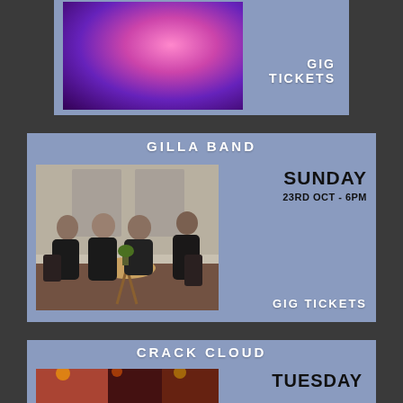GIG TICKETS
GILLA BAND
SUNDAY
23RD OCT - 6PM
GIG TICKETS
CRACK CLOUD
TUESDAY